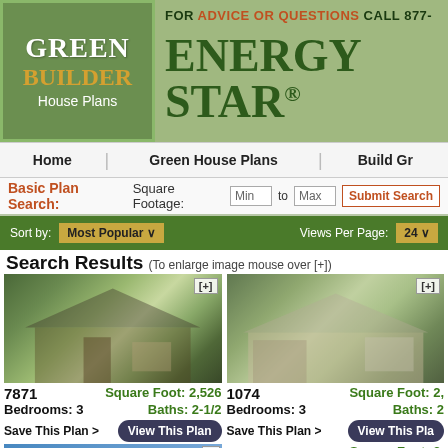[Figure (logo): Green Builder House Plans logo - green background with white 'Green', gold 'Builder', white 'House Plans' text]
FOR ADVICE OR QUESTIONS CALL 877-
ENERGY STAR®
Home | Green House Plans | Build Gr
Basic Plan Search: Square Footage: Min to Max Submit Search
Sort by: Most Popular ∨  Views Per Page: 24 ∨
Search Results (To enlarge image mouse over [+])
[Figure (photo): Craftsman style house with metal roof, stone and wood exterior, landscaped front yard]
7871
Square Foot: 2,526
Bedrooms: 3
Baths: 2-1/2
Save This Plan >  View This Plan
[Figure (photo): Ranch style house with gable roof, light-colored exterior, attached garage, landscaped yard]
1074
Square Foot: 2,
Bedrooms: 3
Baths: 2
Save This Plan >  View This Pla
[Figure (photo): House plan image partially visible at bottom left]
2259
Square Foot: 3,